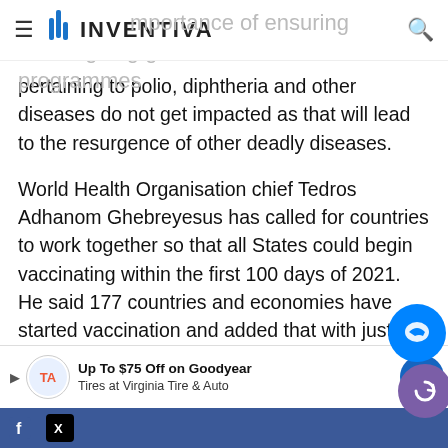INVENTIVA
importance of ensuring that ongoing global immunisation programmes pertaining to polio, diphtheria and other diseases do not get impacted as that will lead to the resurgence of other deadly diseases.
World Health Organisation chief Tedros Adhanom Ghebreyesus has called for countries to work together so that all States could begin vaccinating within the first 100 days of 2021. He said 177 countries and economies have started vaccination and added that with just 15 days left before the 100 days